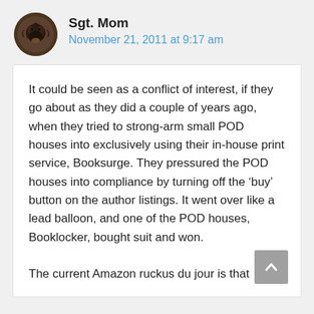[Figure (photo): Circular avatar image of Sgt. Mom, showing a dark round object on a leaf background]
Sgt. Mom
November 21, 2011 at 9:17 am
It could be seen as a conflict of interest, if they go about as they did a couple of years ago, when they tried to strong-arm small POD houses into exclusively using their in-house print service, Booksurge. They pressured the POD houses into compliance by turning off the ‘buy’ button on the author listings. It went over like a lead balloon, and one of the POD houses, Booklocker, bought suit and won.

The current Amazon ruckus du jour is that